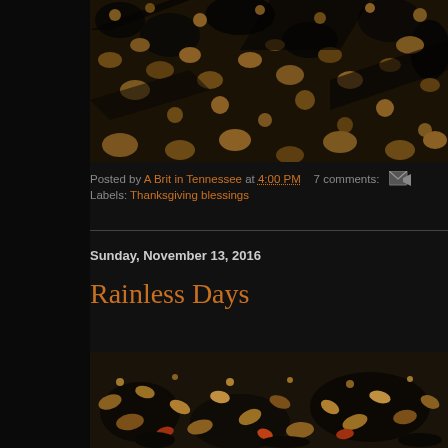[Figure (photo): Close-up photo of dark patterned fabric or leaves with golden/brown tones against black background, cropped at top]
Posted by A Brit in Tennessee at 4:00 PM    7 comments:
Labels: Thanksgiving blessings
Sunday, November 13, 2016
Rainless Days
[Figure (photo): Outdoor photo showing scattered autumn leaves and organic debris on ground, with warm colors]